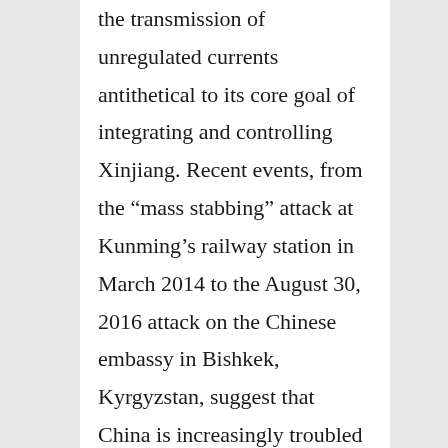the transmission of unregulated currents antithetical to its core goal of integrating and controlling Xinjiang. Recent events, from the “mass stabbing” attack at Kunming’s railway station in March 2014 to the August 30, 2016 attack on the Chinese embassy in Bishkek, Kyrgyzstan, suggest that China is increasingly troubled by terrorism. Yet